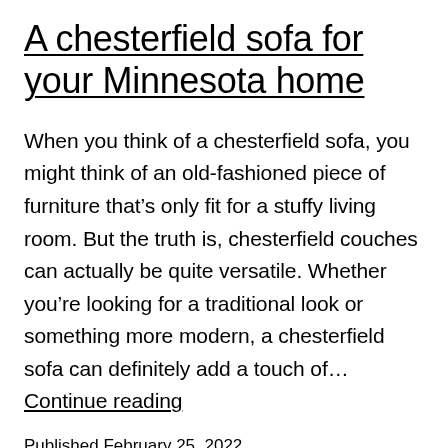A chesterfield sofa for your Minnesota home
When you think of a chesterfield sofa, you might think of an old-fashioned piece of furniture that’s only fit for a stuffy living room. But the truth is, chesterfield couches can actually be quite versatile. Whether you’re looking for a traditional look or something more modern, a chesterfield sofa can definitely add a touch of… Continue reading
Published February 25, 2022